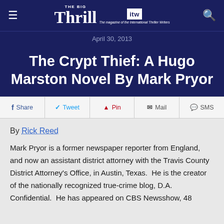The Big Thrill — The magazine of the International Thriller Writers
April 30, 2013
The Crypt Thief: A Hugo Marston Novel By Mark Pryor
Share  Tweet  Pin  Mail  SMS
By Rick Reed
Mark Pryor is a former newspaper reporter from England, and now an assistant district attorney with the Travis County District Attorney's Office, in Austin, Texas.  He is the creator of the nationally recognized true-crime blog, D.A. Confidential.  He has appeared on CBS Newsshow, 48